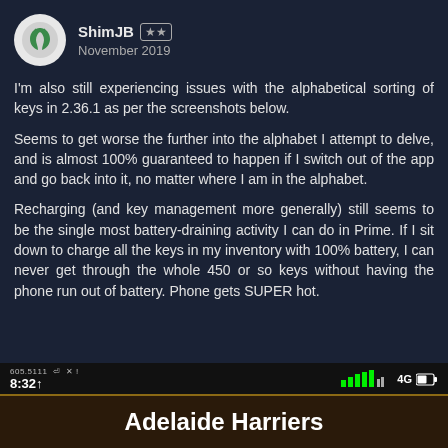[Figure (screenshot): User avatar circle with green leaf/plant icon]
ShimJB ★★ November 2019
I'm also still experiencing issues with the alphabetical sorting of keys in 2.36.1 as per the screenshots below.
Seems to get worse the further into the alphabet I attempt to delve, and is almost 100% guaranteed to happen if I switch out of the app and go back into it, no matter where I am in the alphabet.
Recharging (and key management more generally) still seems to be the single most battery-draining activity I can do in Prime. If I sit down to charge all the keys in my inventory with 100% battery, I can never get through the whole 450 or so keys without having the phone run out of battery. Phone gets SUPER hot.
[Figure (screenshot): Mobile phone screenshot showing status bar with time 8:32 and 4G signal, and app screen showing 'Adelaide Harriers' title on dark brown background]